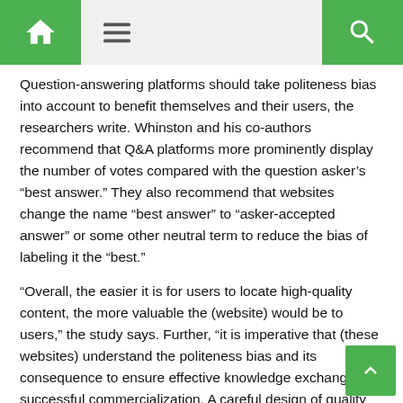Home | Menu | Search
Question-answering platforms should take politeness bias into account to benefit themselves and their users, the researchers write. Whinston and his co-authors recommend that Q&A platforms more prominently display the number of votes compared with the question asker’s “best answer.” They also recommend that websites change the name “best answer” to “asker-accepted answer” or some other neutral term to reduce the bias of labeling it the “best.”
“Overall, the easier it is for users to locate high-quality content, the more valuable the (website) would be to users,” the study says. Further, “it is imperative that (these websites) understand the politeness bias and its consequence to ensure effective knowledge exchange and successful commercialization. A careful design of quality assessment methods can be highly beneficial to the growth of these platforms.”
Source: Read Full Article